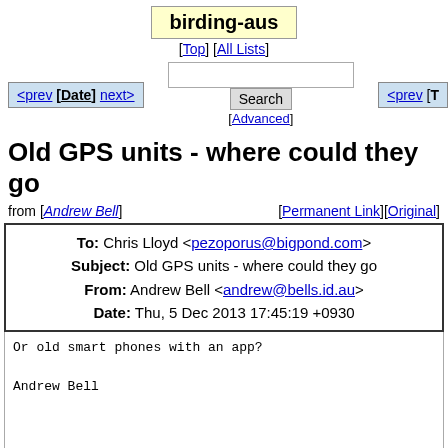birding-aus
[Top] [All Lists]
<prev [Date] next> [Advanced] Search <prev [T
Old GPS units - where could they go
from [Andrew Bell] [Permanent Link][Original]
| To: | Chris Lloyd <pezoporus@bigpond.com> |
| Subject: | Old GPS units - where could they go |
| From: | Andrew Bell <andrew@bells.id.au> |
| Date: | Thu, 5 Dec 2013 17:45:19 +0930 |
Or old smart phones with an app?

Andrew Bell

On 05/12/2013, at 12:30 PM, "Chris Lloyd" <pezoporus@bi

> In the course of a lengthy conversation with a high s
> about GIS, GPS and geography (yep, we both need to ge
> apps) my colleague mentioned the difficulty of teachi